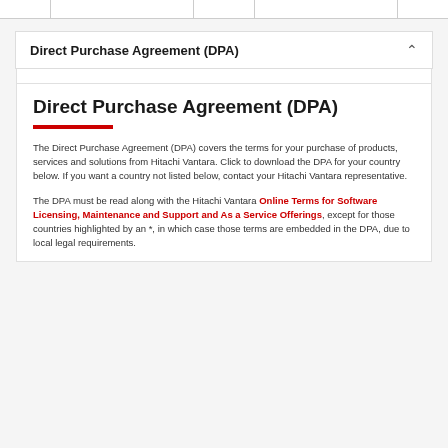Direct Purchase Agreement (DPA)
Direct Purchase Agreement (DPA)
The Direct Purchase Agreement (DPA) covers the terms for your purchase of products, services and solutions from Hitachi Vantara. Click to download the DPA for your country below. If you want a country not listed below, contact your Hitachi Vantara representative.
The DPA must be read along with the Hitachi Vantara Online Terms for Software Licensing, Maintenance and Support and As a Service Offerings, except for those countries highlighted by an *, in which case those terms are embedded in the DPA, due to local legal requirements.